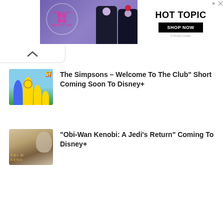[Figure (photo): Hot Topic advertisement banner featuring Harajuku Collective branding with two figures in dark purple/black outfits and Studio Ghibli co-branding. Includes a 'SHOP NOW' button.]
[Figure (photo): Thumbnail image showing The Simpsons characters (Bart, Lisa, Maggie, Homer) against a blue sky background with yellow Simpsons logo text.]
The Simpsons – Welcome To The Club” Short Coming Soon To Disney+
[Figure (photo): Thumbnail image for Obi-Wan Kenobi documentary showing a close-up face (Ewan McGregor as Obi-Wan) with golden text 'OBI-W KENO' visible.]
“Obi-Wan Kenobi: A Jedi’s Return” Coming To Disney+